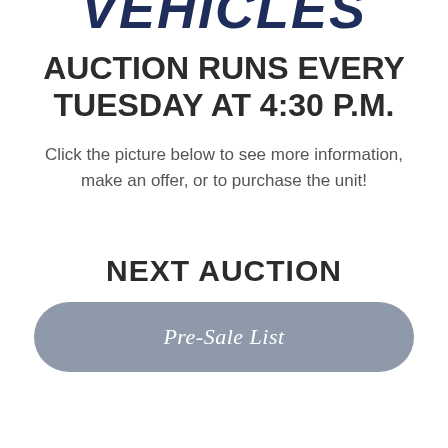VEHICLES
AUCTION RUNS EVERY TUESDAY AT 4:30 P.M.
Click the picture below to see more information, make an offer, or to purchase the unit!
NEXT AUCTION
Pre-Sale List